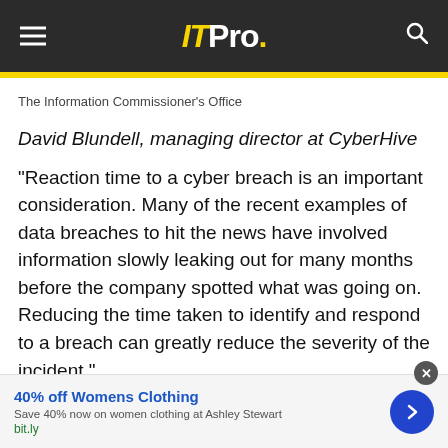IT Pro.
The Information Commissioner's Office
David Blundell, managing director at CyberHive
"Reaction time to a cyber breach is an important consideration. Many of the recent examples of data breaches to hit the news have involved information slowly leaking out for many months before the company spotted what was going on. Reducing the time taken to identify and respond to a breach can greatly reduce the severity of the incident."
40% off Womens Clothing
Save 40% now on women clothing at Ashley Stewart
bit.ly